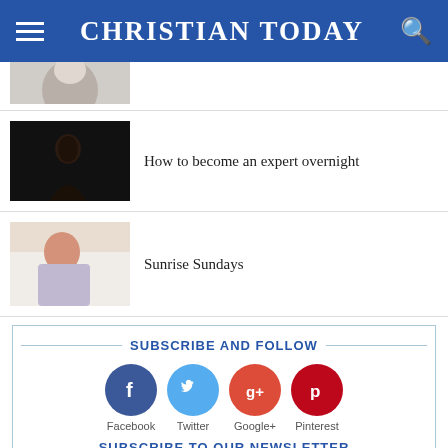CHRISTIAN TODAY
[Figure (photo): Partial view of a person from above, cropped at top of page]
How to become an expert overnight
[Figure (photo): Dark silhouette of a person against a black background]
Sunrise Sundays
[Figure (photo): Child with reddish hair seen from behind against a bright background]
SUBSCRIBE AND FOLLOW
Facebook  Twitter  Google+  Pinterest
SUBSCRIBE TO OUR NEWSLETTER